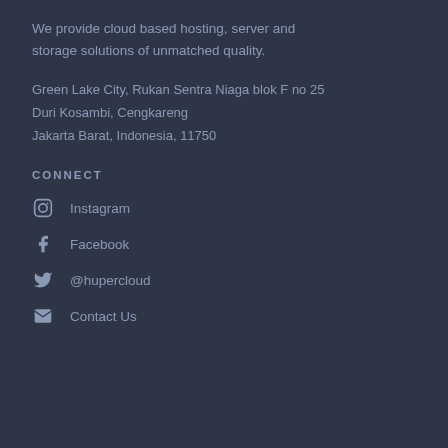We provide cloud based hosting, server and storage solutions of unmatched quality.
Green Lake City, Rukan Sentra Niaga blok F no 25
Duri Kosambi, Cengkareng
Jakarta Barat, Indonesia, 11750
CONNECT
Instagram
Facebook
@hupercloud
Contact Us